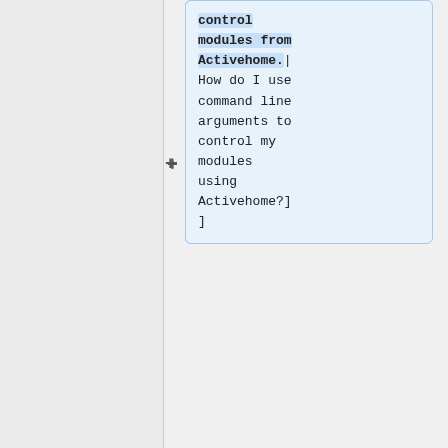control
modules from
Activehome.|
How do I use command line arguments to control my modules using Activehome?]]
==Related Products==
[a href="/kbase/products/p00018.html"]Lamp Modules
[a href="/kbase/products/p00018.html"]Lamp Modules
[a href="/kbase
[a href="/kbase